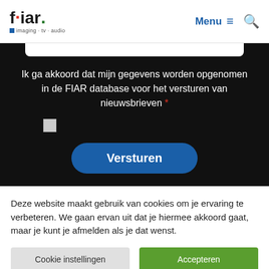[Figure (logo): FIAR logo with red dot after f, green dot at end, tagline: imaging · tv · audio]
Menu
Ik ga akkoord dat mijn gegevens worden opgenomen in de FIAR database voor het versturen van nieuwsbrieven *
Versturen
Deze website maakt gebruik van cookies om je ervaring te verbeteren. We gaan ervan uit dat je hiermee akkoord gaat, maar je kunt je afmelden als je dat wenst.
Cookie instellingen
Accepteren